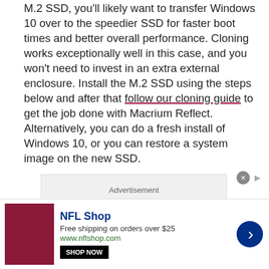M.2 SSD, you'll likely want to transfer Windows 10 over to the speedier SSD for faster boot times and better overall performance. Cloning works exceptionally well in this case, and you won't need to invest in an extra external enclosure. Install the M.2 SSD using the steps below and after that follow our cloning guide to get the job done with Macrium Reflect. Alternatively, you can do a fresh install of Windows 10, or you can restore a system image on the new SSD.
[Figure (other): Advertisement placeholder box with grey background]
[Figure (other): NFL Shop advertisement banner at bottom: image of dark red jersey, NFL Shop name in blue bold text, Free shipping on orders over $25, www.nflshop.com, SHOP NOW button, blue circle next arrow]